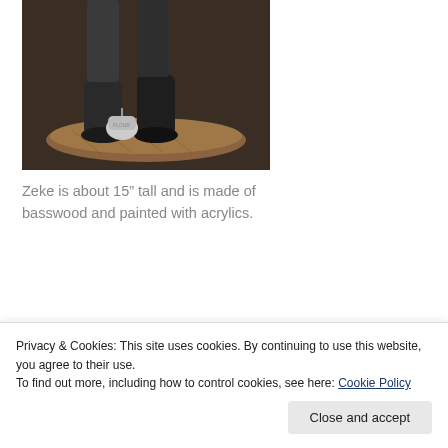[Figure (photo): Close-up photo of a carved wooden figurine's feet on a wooden base, with a small bag nearby]
Zeke is about 15” tall and is made of basswood and painted with acrylics.
[Figure (photo): Top-down view of a carved wooden cowboy figurine wearing a wide-brimmed hat, painted with acrylics]
Privacy & Cookies: This site uses cookies. By continuing to use this website, you agree to their use.
To find out more, including how to control cookies, see here: Cookie Policy
Close and accept